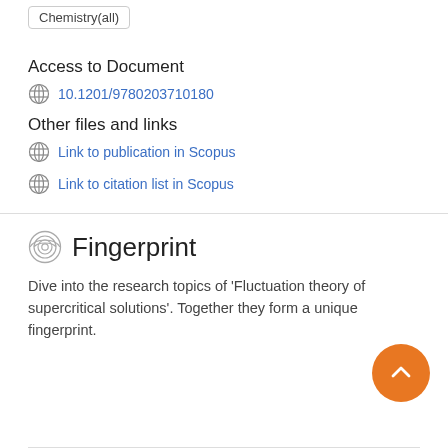Chemistry(all)
Access to Document
10.1201/9780203710180
Other files and links
Link to publication in Scopus
Link to citation list in Scopus
Fingerprint
Dive into the research topics of 'Fluctuation theory of supercritical solutions'. Together they form a unique fingerprint.